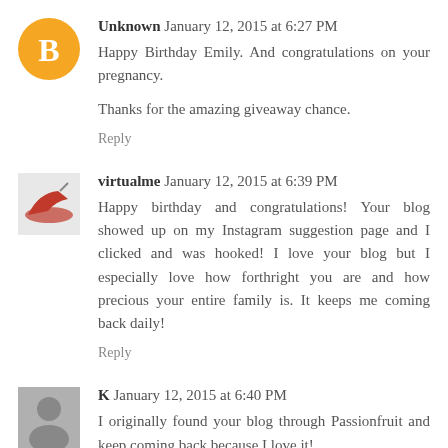Unknown January 12, 2015 at 6:27 PM
Happy Birthday Emily. And congratulations on your pregnancy.

Thanks for the amazing giveaway chance.
Reply
virtualme January 12, 2015 at 6:39 PM
Happy birthday and congratulations! Your blog showed up on my Instagram suggestion page and I clicked and was hooked! I love your blog but I especially love how forthright you are and how precious your entire family is. It keeps me coming back daily!
Reply
K January 12, 2015 at 6:40 PM
I originally found your blog through Passionfruit and keep coming back because I love it!